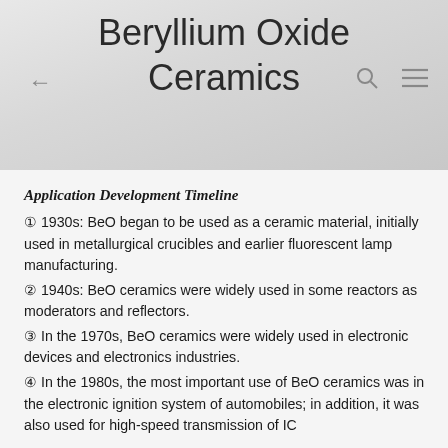Beryllium Oxide Ceramics
Application Development Timeline
① 1930s: BeO began to be used as a ceramic material, initially used in metallurgical crucibles and earlier fluorescent lamp manufacturing.
② 1940s: BeO ceramics were widely used in some reactors as moderators and reflectors.
③ In the 1970s, BeO ceramics were widely used in electronic devices and electronics industries.
④ In the 1980s, the most important use of BeO ceramics was in the electronic ignition system of automobiles; in addition, it was also used for high-speed transmission of IC